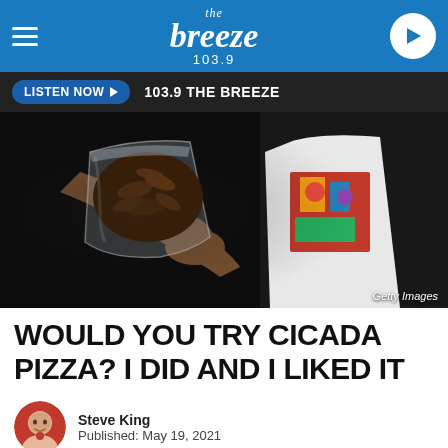the breeze 103.9
LISTEN NOW ▶  103.9 THE BREEZE
[Figure (photo): Person in white graphic t-shirt holding a clear plastic bag full of cicadas, dark background. Getty Images watermark in lower right.]
Getty Images
WOULD YOU TRY CICADA PIZZA? I DID AND I LIKED IT
Steve King
Published: May 19, 2021
f Share    Tweet